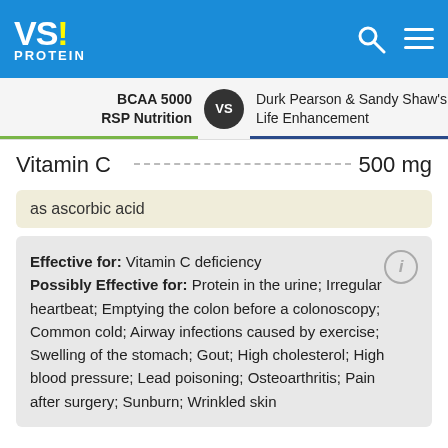VS! PROTEIN
BCAA 5000 RSP Nutrition VS Durk Pearson & Sandy Shaw's Life Enhancement
Vitamin C  500 mg
as ascorbic acid
Effective for: Vitamin C deficiency Possibly Effective for: Protein in the urine; Irregular heartbeat; Emptying the colon before a colonoscopy; Common cold; Airway infections caused by exercise; Swelling of the stomach; Gout; High cholesterol; High blood pressure; Lead poisoning; Osteoarthritis; Pain after surgery; Sunburn; Wrinkled skin
Vitamin E  120 IU